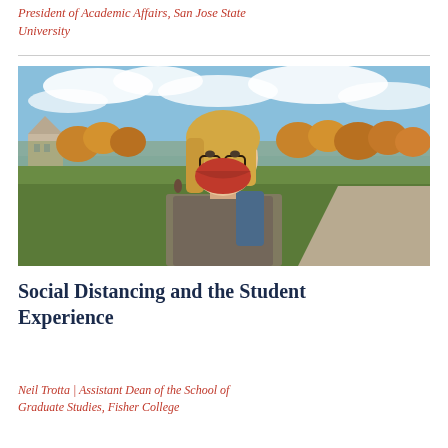President of Academic Affairs, San Jose State University
[Figure (photo): A young woman with blonde hair wearing glasses and a red face mask, a plaid shirt, and a backpack, standing outdoors on a campus lawn with autumn trees, a historic building, and a pathway in the background under a partly cloudy blue sky.]
Social Distancing and the Student Experience
Neil Trotta | Assistant Dean of the School of Graduate Studies, Fisher College